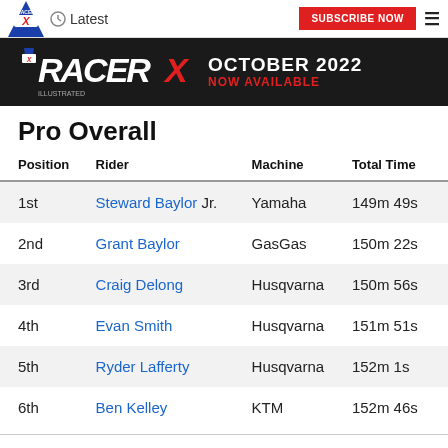Latest | SUBSCRIBE NOW
[Figure (screenshot): Racer X October 2022 Now Available banner advertisement]
Pro Overall
| Position | Rider | Machine | Total Time |
| --- | --- | --- | --- |
| 1st | Steward Baylor Jr. | Yamaha | 149m 49s |
| 2nd | Grant Baylor | GasGas | 150m 22s |
| 3rd | Craig Delong | Husqvarna | 150m 56s |
| 4th | Evan Smith | Husqvarna | 151m 51s |
| 5th | Ryder Lafferty | Husqvarna | 152m 1s |
| 6th | Ben Kelley | KTM | 152m 46s |